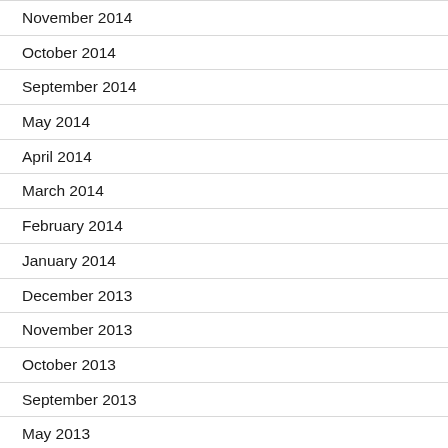November 2014
October 2014
September 2014
May 2014
April 2014
March 2014
February 2014
January 2014
December 2013
November 2013
October 2013
September 2013
May 2013
April 2013